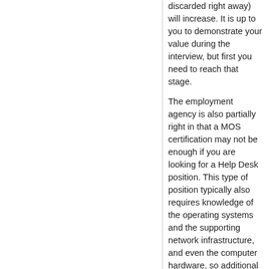discarded right away) will increase. It is up to you to demonstrate your value during the interview, but first you need to reach that stage.
The employment agency is also partially right in that a MOS certification may not be enough if you are looking for a Help Desk position. This type of position typically also requires knowledge of the operating systems and the supporting network infrastructure, and even the computer hardware, so additional certifications would be needed to prove this knowledge. Once again, you don't require the certification as an absolute requirement; if you have the knowledge, you can state so in your CV and the employer will evaluate you. But having the certification can help distinguish your CV over others that don't have it.
Proposed as answer by
Danny van Dam  MVP, Editor
Monday, September 22, 2014 10:22 AM